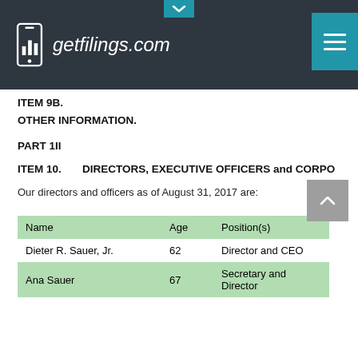getfilings.com
ITEM 9B.
OTHER INFORMATION.
PART 1II
ITEM 10.        DIRECTORS, EXECUTIVE OFFICERS and CORPO
Our directors and officers as of August 31, 2017 are:
| Name | Age | Position(s) |
| --- | --- | --- |
| Dieter R. Sauer, Jr. | 62 | Director and CEO |
| Ana Sauer | 67 | Secretary and Director |